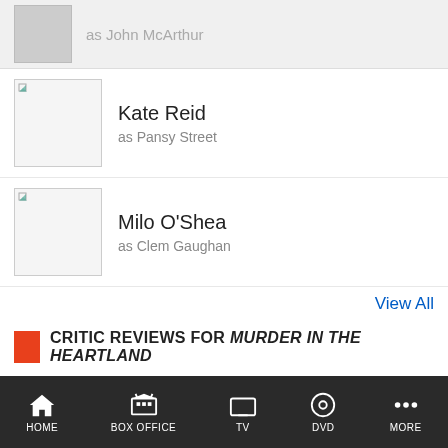[Figure (photo): Partially visible actor thumbnail row with gray photo and name cropped at top]
Kate Reid as Pansy Street
Milo O'Shea as Clem Gaughan
View All
CRITIC REVIEWS FOR MURDER IN THE HEARTLAND
All Critics (1) | Top Critics (1)
The entire cast is excellent.
March 1, 2018 | Full Review...
Tony Scott
Variety
HOME  BOX OFFICE  TV  DVD  MORE